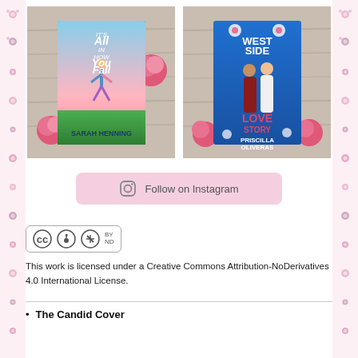[Figure (photo): Two book covers side by side on a wooden surface with pink roses. Left: 'It's All in How You Fall' by Sarah Henning (colorful illustrated cover). Right: 'West Side Love Story' by Priscilla Oliveras (blue illustrated cover with couple).]
[Figure (other): Pink rounded button with Instagram camera icon and text 'Follow on Instagram']
[Figure (logo): Creative Commons CC BY ND license badge]
This work is licensed under a Creative Commons Attribution-NoDerivatives 4.0 International License.
The Candid Cover